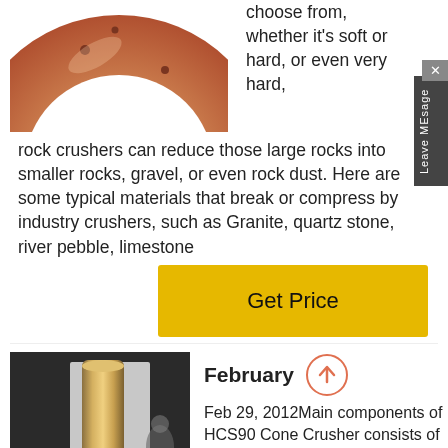[Figure (photo): Partial view of a copper/bronze ring or bushing component, horseshoe-shaped, photographed from above on white background.]
choose from, whether it's soft or hard, or even very hard, rock crushers can reduce those large rocks into smaller rocks, gravel, or even rock dust. Here are some typical materials that break or compress by industry crushers, such as Granite, quartz stone, river pebble, limestone
[Figure (other): Yellow 'Get Price' button]
[Figure (photo): Industrial cylindrical metal part (cone crusher shaft/spindle), brass/gold colored, standing upright on a surface in a workshop setting.]
February
Feb 29, 2012Main components of HCS90 Cone Crusher consists of feeding